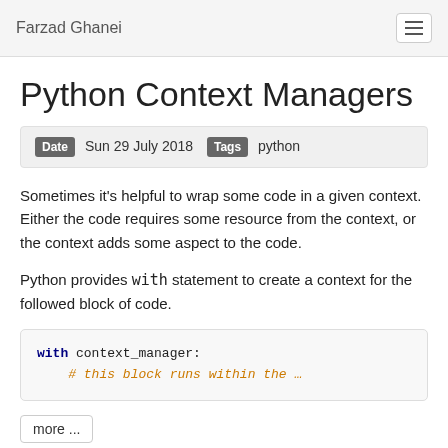Farzad Ghanei
Python Context Managers
Date  Sun 29 July 2018  Tags  python
Sometimes it's helpful to wrap some code in a given context. Either the code requires some resource from the context, or the context adds some aspect to the code.
Python provides with statement to create a context for the followed block of code.
[Figure (screenshot): Code block showing: with context_manager:  followed by a comment line: # this block runs within the …]
more ...